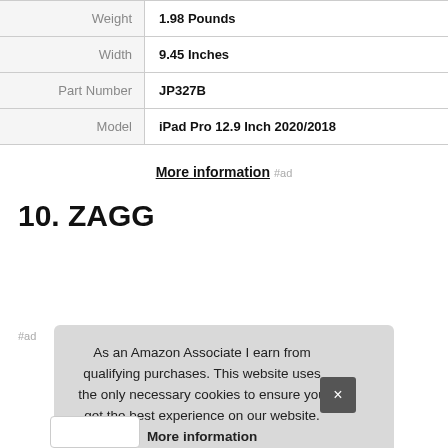|  |  |
| --- | --- |
| Weight | 1.98 Pounds |
| Width | 9.45 Inches |
| Part Number | JP327B |
| Model | iPad Pro 12.9 Inch 2020/2018 |
More information #ad
10. ZAGG
#ad
As an Amazon Associate I earn from qualifying purchases. This website uses the only necessary cookies to ensure you get the best experience on our website. More information